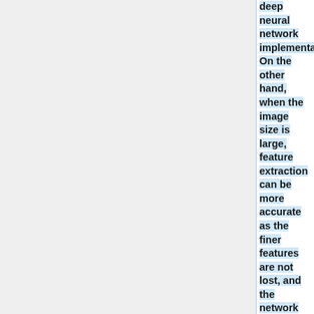deep neural network implementations. On the other hand, when the image size is large, feature extraction can be more accurate as the finer features are not lost, and the network can learn more robust features, but the disadvantage is that the number of images is reduced, and a deep neural network is difficult to